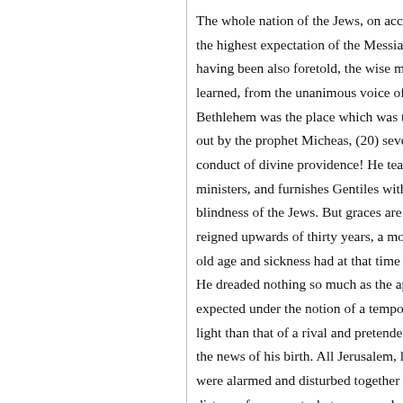The whole nation of the Jews, on accoun the highest expectation of the Messiah's having been also foretold, the wise men, learned, from the unanimous voice of the Bethlehem was the place which was to b out by the prophet Micheas, (20) several conduct of divine providence! He teache ministers, and furnishes Gentiles with the blindness of the Jews. But graces are los reigned upwards of thirty years, a monst old age and sickness had at that time exa He dreaded nothing so much as the appe expected under the notion of a temporal light than that of a rival and pretender to the news of his birth. All Jerusalem, like were alarmed and disturbed together with distance from courts, betray several symp running counter to our duty? Likewise in foolish ambition is. The divine infant car but to offer him one that is eternal; and t